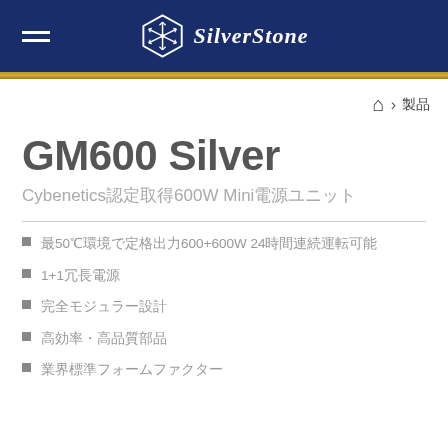[Figure (logo): SilverStone logo with snowflake hexagon emblem and brand name in white on dark navy header]
GM600 Silver
Cybenetics認定取得600W Mini電源ユニット
最50℃環境で定格出力600+600W 24時間連続運転可能
1+1冗長電源
完全モジュラー設計
高効率・高品質部品
業界標準フォームファクター